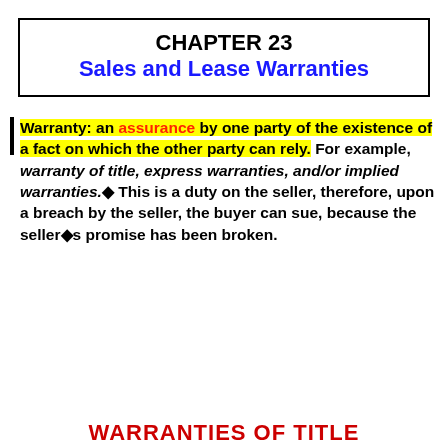CHAPTER 23
Sales and Lease Warranties
Warranty: an assurance by one party of the existence of a fact on which the other party can rely. For example, warranty of title, express warranties, and/or implied warranties.◆ This is a duty on the seller, therefore, upon a breach by the seller, the buyer can sue, because the seller◆s promise has been broken.
WARRANTIES OF TITLE